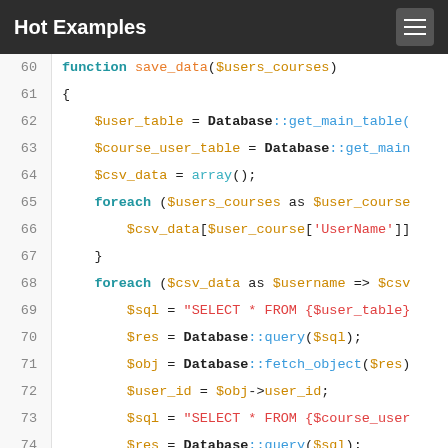Hot Examples
[Figure (screenshot): PHP code snippet showing a function save_data with database queries, lines 60-76, syntax-highlighted in a white code block. Line 76 is highlighted in green.]
x